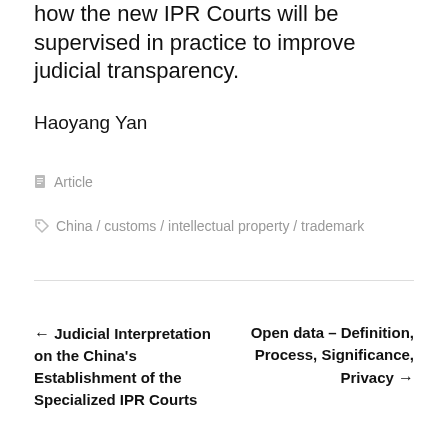how the new IPR Courts will be supervised in practice to improve judicial transparency.
Haoyang Yan
Article
China / customs / intellectual property / trademark
← Judicial Interpretation on the China's Establishment of the Specialized IPR Courts
Open data – Definition, Process, Significance, Privacy →